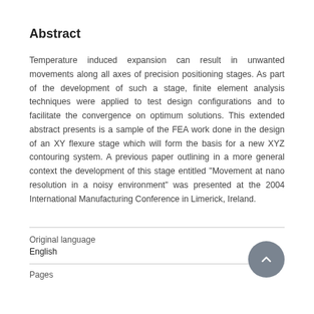Abstract
Temperature induced expansion can result in unwanted movements along all axes of precision positioning stages. As part of the development of such a stage, finite element analysis techniques were applied to test design configurations and to facilitate the convergence on optimum solutions. This extended abstract presents is a sample of the FEA work done in the design of an XY flexure stage which will form the basis for a new XYZ contouring system. A previous paper outlining in a more general context the development of this stage entitled "Movement at nano resolution in a noisy environment" was presented at the 2004 International Manufacturing Conference in Limerick, Ireland.
Original language
English
Pages